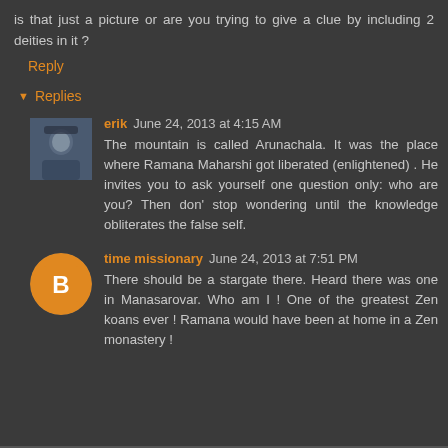is that just a picture or are you trying to give a clue by including 2 deities in it ?
Reply
▼ Replies
erik  June 24, 2013 at 4:15 AM
The mountain is called Arunachala. It was the place where Ramana Maharshi got liberated (enlightened) . He invites you to ask yourself one question only: who are you? Then don' stop wondering until the knowledge obliterates the false self.
time missionary  June 24, 2013 at 7:51 PM
There should be a stargate there. Heard there was one in Manasarovar. Who am I ! One of the greatest Zen koans ever ! Ramana would have been at home in a Zen monastery !